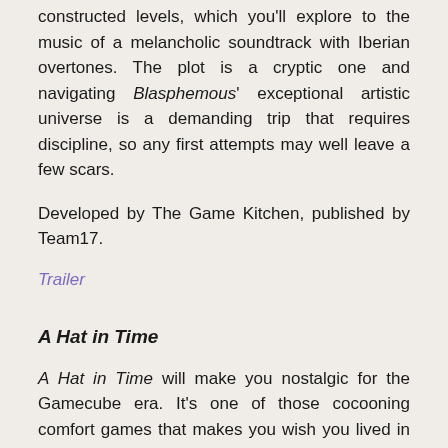constructed levels, which you'll explore to the music of a melancholic soundtrack with Iberian overtones. The plot is a cryptic one and navigating Blasphemous' exceptional artistic universe is a demanding trip that requires discipline, so any first attempts may well leave a few scars.
Developed by The Game Kitchen, published by Team17.
Trailer
A Hat in Time
A Hat in Time will make you nostalgic for the Gamecube era. It's one of those cocooning comfort games that makes you wish you lived in the world of its cute characters. The story is simple: a mischievous little girl named Hat Kid must look for missing Time Pieces — magic hourglasses that power